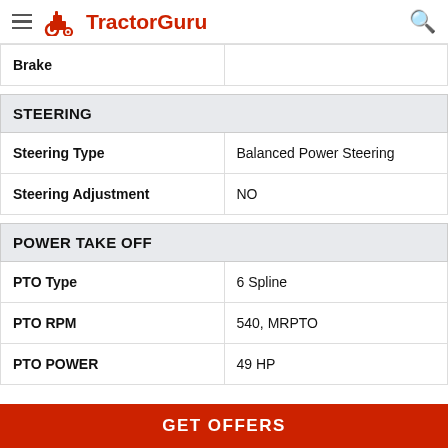TractorGuru
| Brake |  |
| --- | --- |
| STEERING |
| --- |
| Steering Type | Balanced Power Steering |
| Steering Adjustment | NO |
| POWER TAKE OFF |
| --- |
| PTO Type | 6 Spline |
| PTO RPM | 540, MRPTO |
| PTO POWER | 49 HP |
GET OFFERS